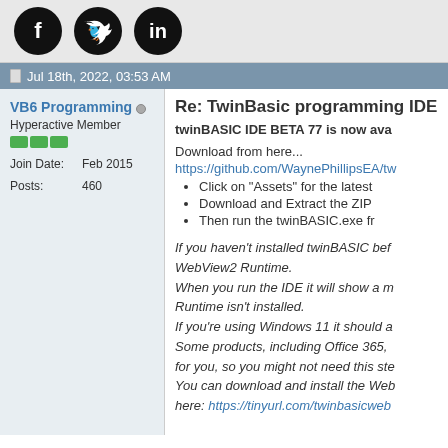[Figure (other): Social media icons: Facebook, Twitter, LinkedIn (black circles with white logos)]
Jul 18th, 2022, 03:53 AM
VB6 Programming
Hyperactive Member
Join Date: Feb 2015
Posts: 460
Re: TwinBasic programming IDE
twinBASIC IDE BETA 77 is now ava
Download from here...
https://github.com/WaynePhillipsEA/tw
Click on "Assets" for the latest
Download and Extract the ZIP
Then run the twinBASIC.exe fr
If you haven't installed twinBASIC bef WebView2 Runtime. When you run the IDE it will show a m Runtime isn't installed. If you're using Windows 11 it should a Some products, including Office 365, for you, so you might not need this ste You can download and install the Web here: https://tinyurl.com/twinbasicweb